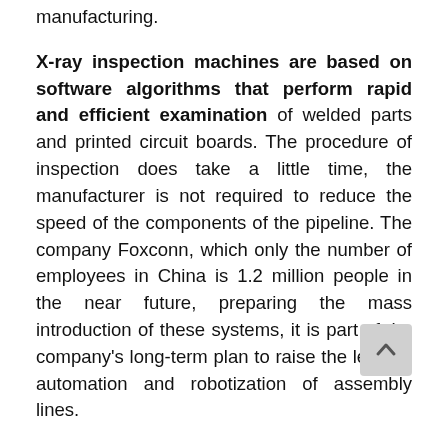manufacturing.
X-ray inspection machines are based on software algorithms that perform rapid and efficient examination of welded parts and printed circuit boards. The procedure of inspection does take a little time, the manufacturer is not required to reduce the speed of the components of the pipeline. The company Foxconn, which only the number of employees in China is 1.2 million people in the near future, preparing the mass introduction of these systems, it is part of the company's long-term plan to raise the level of automation and robotization of assembly lines.
In a recent reportage channel ABC News, in